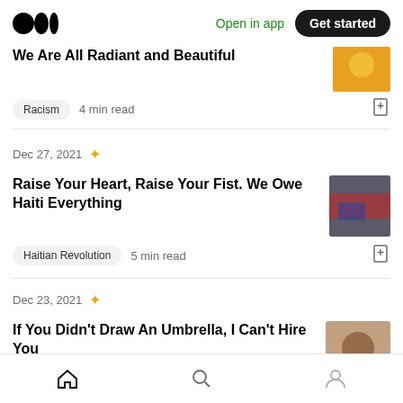Medium logo | Open in app | Get started
We Are All Radiant and Beautiful (truncated title)
Racism  4 min read
Dec 27, 2021
Raise Your Heart, Raise Your Fist. We Owe Haiti Everything
Haitian Revolution  5 min read
Dec 23, 2021
If You Didn't Draw An Umbrella, I Can't Hire You
Home | Search | Profile